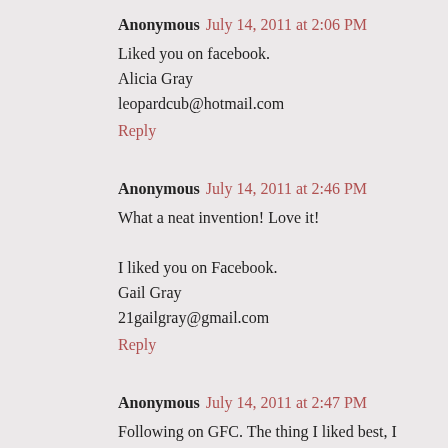Anonymous July 14, 2011 at 2:06 PM
Liked you on facebook.
Alicia Gray
leopardcub@hotmail.com
Reply
Anonymous July 14, 2011 at 2:46 PM
What a neat invention! Love it!

I liked you on Facebook.
Gail Gray
21gailgray@gmail.com
Reply
Anonymous July 14, 2011 at 2:47 PM
Following on GFC. The thing I liked best, I think, is that it is machine or hand washable!